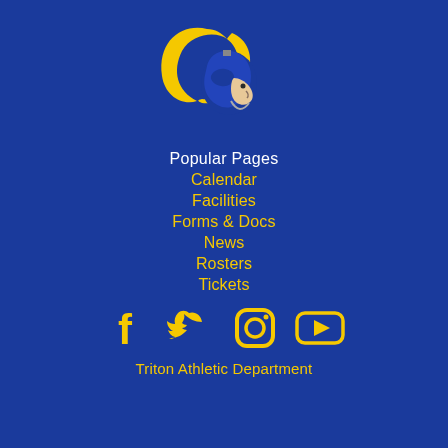[Figure (logo): Triton Trojan mascot head with yellow plume helmet, facing right, blue and yellow colors]
Popular Pages
Calendar
Facilities
Forms & Docs
News
Rosters
Tickets
[Figure (illustration): Social media icons: Facebook, Twitter, Instagram, YouTube in yellow/gold color]
Triton Athletic Department